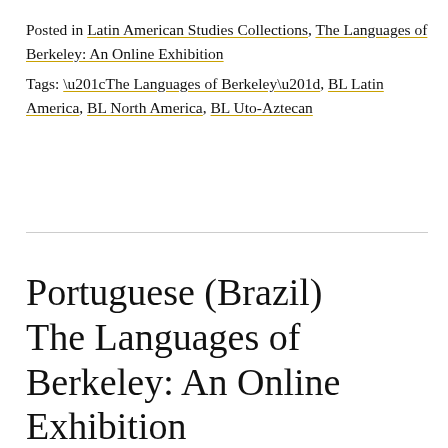Posted in Latin American Studies Collections, The Languages of Berkeley: An Online Exhibition
Tags: “The Languages of Berkeley”, BL Latin America, BL North America, BL Uto-Aztecan
Portuguese (Brazil)
The Languages of Berkeley: An Online Exhibition